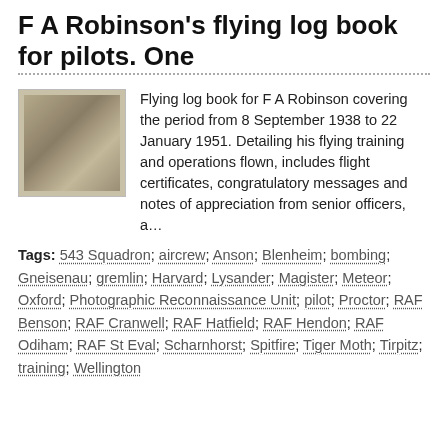F A Robinson's flying log book for pilots. One
[Figure (photo): Thumbnail photograph of a flying log book cover with textured surface]
Flying log book for F A Robinson covering the period from 8 September 1938 to 22 January 1951. Detailing his flying training and operations flown, includes flight certificates, congratulatory messages and notes of appreciation from senior officers, a…
Tags: 543 Squadron; aircrew; Anson; Blenheim; bombing; Gneisenau; gremlin; Harvard; Lysander; Magister; Meteor; Oxford; Photographic Reconnaissance Unit; pilot; Proctor; RAF Benson; RAF Cranwell; RAF Hatfield; RAF Hendon; RAF Odiham; RAF St Eval; Scharnhorst; Spitfire; Tiger Moth; Tirpitz; training; Wellington